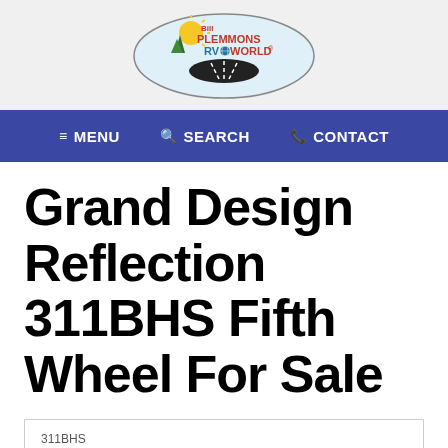[Figure (logo): Bill Plemmons RV World logo — oval shape with sun, trees, road, and colorful text]
≡ MENU   🔍 SEARCH   📞 CONTACT
Grand Design Reflection 311BHS Fifth Wheel For Sale
[Figure (screenshot): Product listing image area showing '311BHS' label and thumbnail images of the RV at bottom, with a 'Text us!' chat button overlay]